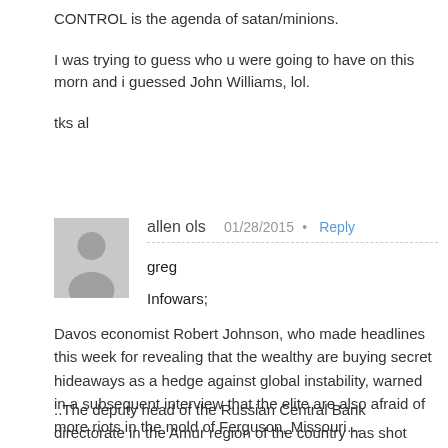CONTROL is the agenda of satan/minions.

I was trying to guess who u were going to have on this morn and i guessed John Williams, lol.

tks al
allen ols   01/28/2015 • Reply
greg
Infowars;
Davos economist Robert Johnson, who made headlines this week for revealing that the wealthy are buying secret hideaways as a hedge against global instability, warned in a subsequent interview that the elite are also afraid of more riots in the mold of Ferguson, Missouri…
.
.and…….
..The deputy head of the Russian Central Bank directorate in the Amur region of the country has shot